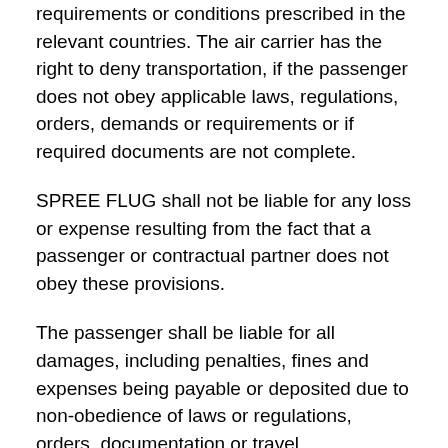requirements or conditions prescribed in the relevant countries. The air carrier has the right to deny transportation, if the passenger does not obey applicable laws, regulations, orders, demands or requirements or if required documents are not complete.
SPREE FLUG shall not be liable for any loss or expense resulting from the fact that a passenger or contractual partner does not obey these provisions.
The passenger shall be liable for all damages, including penalties, fines and expenses being payable or deposited due to non-obedience of laws or regulations, orders, documentation or travel requirements of the entry or transit country or due to non-availability of complete required documents. The passenger is obliged to immediately refund advanced expenses paid or deposited by SPREE FLUG.
Payment